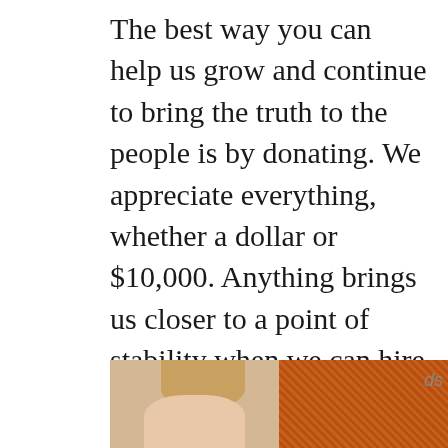The best way you can help us grow and continue to bring the truth to the people is by donating. We appreciate everything, whether a dollar or $10,000. Anything brings us closer to a point of stability when we can hire writers, editors, and support staff to make the America First message louder. Our Giving Fuel page makes it easy to donate one-time or monthly. Alternatively, you can donate through PayPal as well.
[Figure (photo): A photo showing a woman with blonde hair on the left half and food (appears to be fried/breaded food) on the right half, partially cropped at the bottom of the page]